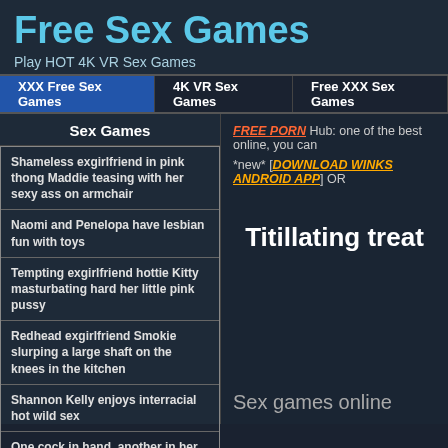Free Sex Games
Play HOT 4K VR Sex Games
XXX Free Sex Games | 4K VR Sex Games | Free XXX Sex Games
Sex Games
Shameless exgirlfriend in pink thong Maddie teasing with her sexy ass on armchair
Naomi and Penelopa have lesbian fun with toys
Tempting exgirlfriend hottie Kitty masturbating hard her little pink pussy
Redhead exgirlfriend Smokie slurping a large shaft on the knees in the kitchen
Shannon Kelly enjoys interracial hot wild sex
One cock in hand, another in her pussy
FREE PORN Hub: one of the best online, you can
*new* [DOWNLOAD WINKS ANDROID APP] OR
Titillating treat
Sex games online